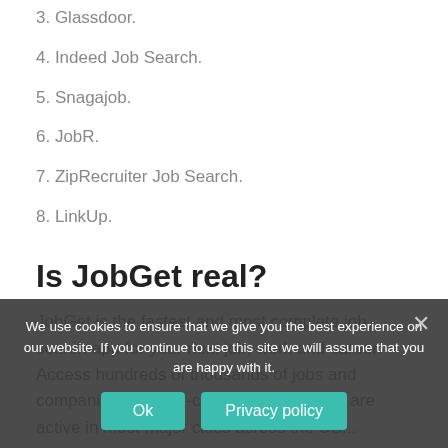3. Glassdoor.
4. Indeed Job Search.
5. Snagajob.
6. JobR.
7. ZipRecruiter Job Search.
8. LinkUp.
Is JobGet real?
JobGet is the fastest and most complete job search app for your next job, work and career. Access hundreds of thousands of jobs and companies with one-click application. We are active in most major cities across the US...
What is the best f... p...
We use cookies to ensure that we give you the best experience on our website. If you continue to use this site we will assume that you are happy with it.